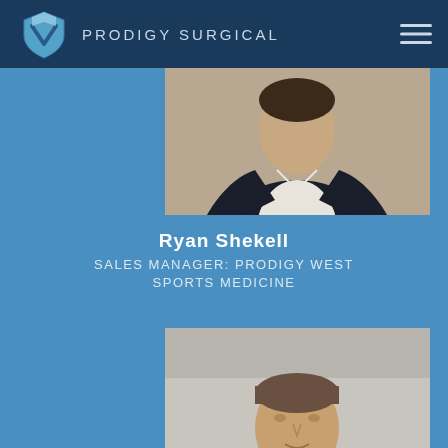PRODIGY SURGICAL
[Figure (photo): Professional headshot of Ryan Shekell, a man in a dark navy suit with white shirt, on a warm tan/beige background]
Ryan Shekell
SALES MANAGER: PRODIGY WEST SPORTS MEDICINE
[Figure (photo): Partial professional headshot of a second person (man with short brown/gray hair) on a gray background, cut off at the bottom of the page]